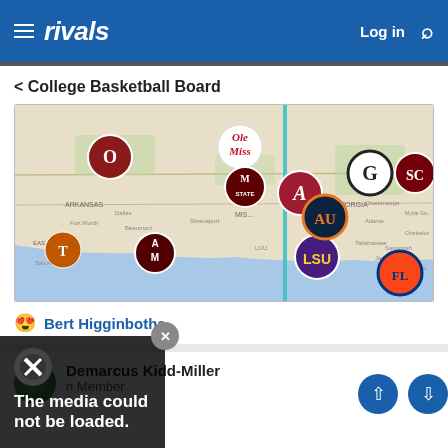rivals  Log in
< College Basketball Board
[Figure (map): Map of southeastern US showing college team logos (Oklahoma, Ole Miss, Mississippi State, Alabama, Georgia, South Carolina, Texas Longhorns, Texas A&M, LSU, Auburn, Florida) with a vertical teal line dividing the map.]
😍 Bert Higginbotha
Demarcus Kidd-Miller
n Member
The media could not be loaded.